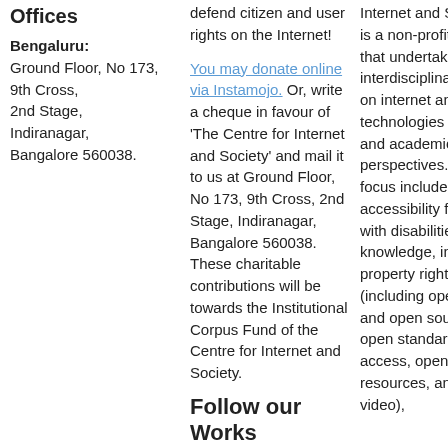Offices
Bengaluru: Ground Floor, No 173, 9th Cross, 2nd Stage, Indiranagar, Bangalore 560038.
defend citizen and user rights on the Internet!
You may donate online via Instamojo. Or, write a cheque in favour of 'The Centre for Internet and Society' and mail it to us at Ground Floor, No 173, 9th Cross, 2nd Stage, Indiranagar, Bangalore 560038. These charitable contributions will be towards the Institutional Corpus Fund of the Centre for Internet and Society.
Follow our Works
Newsletter: Subscribe
Internet and Society (CIS) is a non-profit organisation that undertakes interdisciplinary research on internet and digital technologies from policy and academic perspectives. The areas of focus include digital accessibility for persons with disabilities, access to knowledge, intellectual property rights, openness (including open data, free and open source software, open standards, open access, open educational resources, and open video),